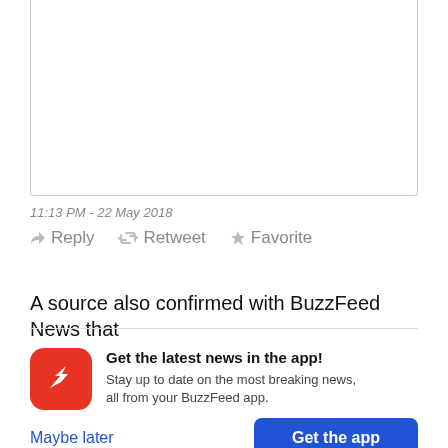[Figure (screenshot): Bottom portion of a tweet card with empty content area, timestamp and action buttons (Reply, Retweet, Favorite)]
11:13 PM - 22 May 2018
Reply  Retweet  Favorite
A source also confirmed with BuzzFeed News that
[Figure (screenshot): BuzzFeed app download banner with red logo icon, headline 'Get the latest news in the app!', subtext 'Stay up to date on the most breaking news, all from your BuzzFeed app.', and two buttons: 'Maybe later' and 'Get the app']